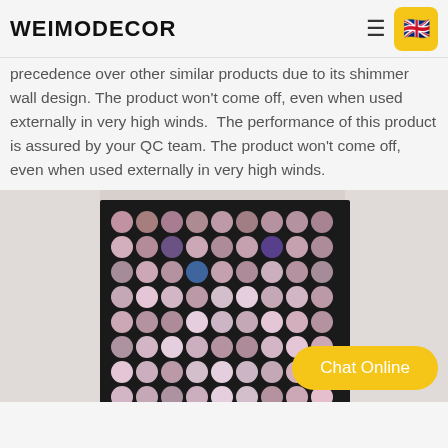WEIMODECOR
precedence over other similar products due to its shimmer wall design. The product won't come off, even when used externally in very high winds.  The performance of this product is assured by your QC team. The product won't come off, even when used externally in very high winds.
[Figure (photo): Close-up photo of a shimmer wall panel covered with round metallic sequins in pink/rose gold and multicolor tones arranged in a grid pattern on a black backing, photographed against a light gray background.]